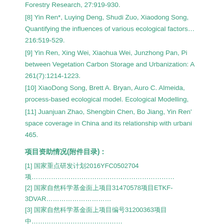Forestry Research, 27:919-930.
[8] Yin Ren*, Luying Deng, Shudi Zuo, Xiaodong Song, Quantifying the influences of various ecological factors… 216:519-529.
[9] Yin Ren, Xing Wei, Xiaohua Wei, Junzhong Pan, Pi… between Vegetation Carbon Storage and Urbanization: A… 261(7):1214-1223.
[10] XiaoDong Song, Brett A. Bryan, Auro C. Almeida,… process-based ecological model. Ecological Modelling,…
[11] Juanjuan Zhao, Shengbin Chen, Bo Jiang, Yin Ren'… space coverage in China and its relationship with urbani… 465.
项目资助情况(附件目录)：
[1]  国家重点研发计划2016YFC0502704项…………………………………………………………
[2]  国家自然科学基金面上项目31470578项目ETKF-3DVAR…………………………
[3]  国家自然科学基金面上项目编号31200363项目中……………………………………
[4]  国家自然科学基金面上项目编号201304205项目……………………… 结项……